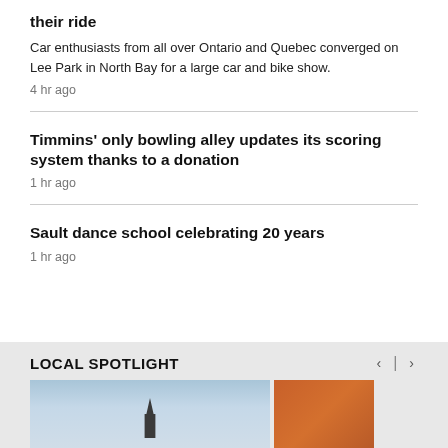their ride
Car enthusiasts from all over Ontario and Quebec converged on Lee Park in North Bay for a large car and bike show.
4 hr ago
Timmins' only bowling alley updates its scoring system thanks to a donation
1 hr ago
Sault dance school celebrating 20 years
1 hr ago
LOCAL SPOTLIGHT
[Figure (photo): Two images in a spotlight carousel: a photo with a blue sky and a dark tree silhouette, and a partial orange/amber colored photo]